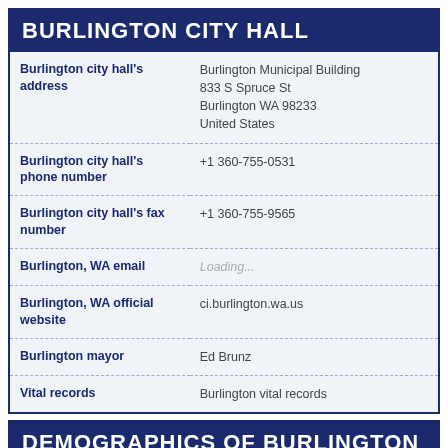BURLINGTON CITY HALL
| Field | Value |
| --- | --- |
| Burlington city hall's address | Burlington Municipal Building
833 S Spruce St
Burlington WA 98233
United States |
| Burlington city hall's phone number | +1 360-755-0531 |
| Burlington city hall's fax number | +1 360-755-9565 |
| Burlington, WA email | Loading... |
| Burlington, WA official website | ci.burlington.wa.us |
| Burlington mayor | Ed Brunz |
| Vital records | Burlington vital records |
DEMOGRAPHICS OF BURLINGTON